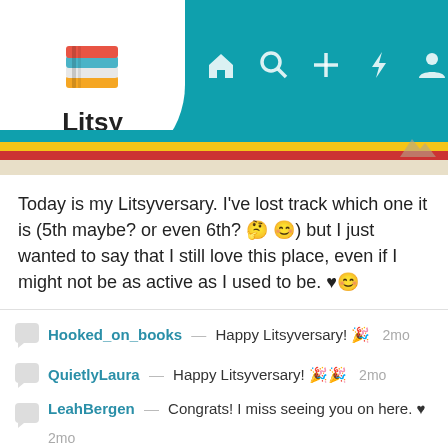[Figure (screenshot): Litsy app header with logo, navigation icons (home, search, add, notifications, profile), and colored stripes (teal, yellow, red, sand)]
Today is my Litsyversary. I've lost track which one it is (5th maybe? or even 6th? 🤔😊) but I just wanted to say that I still love this place, even if I might not be as active as I used to be. ♥😊
Hooked_on_books — Happy Litsyversary! 🎉  2mo
QuietlyLaura — Happy Litsyversary! 🎉🎉  2mo
LeahBergen — Congrats! I miss seeing you on here. ♥  2mo
See All 15 Comments
tracey38 — Happy Litsyversary!  2mo
Tera66 — Happy Litsyversary!🎉🎉🎉  2mo